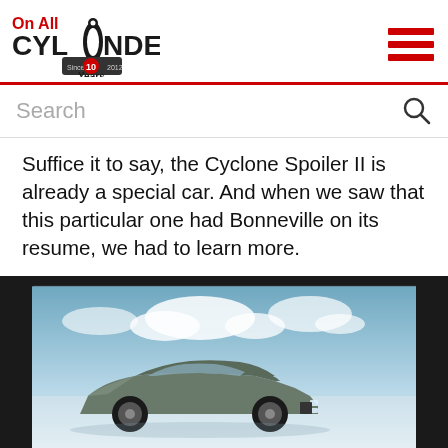On All Cylinders — 10 Years
Search
Suffice it to say, the Cyclone Spoiler II is already a special car. And when we saw that this particular one had Bonneville on its resume, we had to learn more.
[Figure (photo): A muscle car (Mercury Cyclone Spoiler II) displayed on a screen/monitor, shown against a cloudy blue sky background with white salt flat ground. The photo is taken of a screen in a dark frame.]